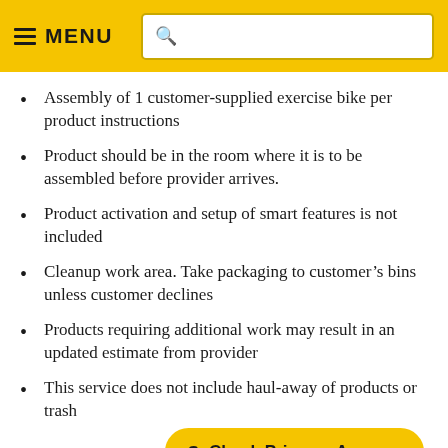MENU
Assembly of 1 customer-supplied exercise bike per product instructions
Product should be in the room where it is to be assembled before provider arrives.
Product activation and setup of smart features is not included
Cleanup work area. Take packaging to customer's bins unless customer declines
Products requiring additional work may result in an updated estimate from provider
This service does not include haul-away of products or trash